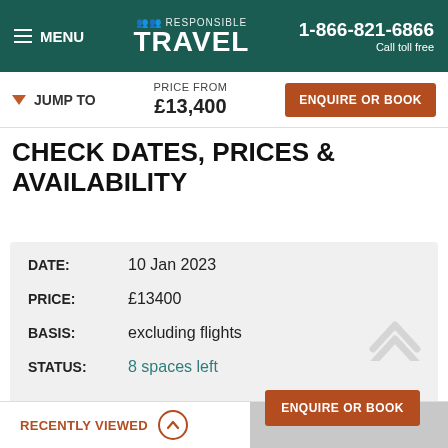MENU | RESPONSIBLE TRAVEL | 1-866-821-6866 Call toll free
JUMP TO | PRICE FROM £13,400 | ENQUIRE OR BOOK
CHECK DATES, PRICES & AVAILABILITY
| Field | Value |
| --- | --- |
| DATE: | 10 Jan 2023 |
| PRICE: | £13400 |
| BASIS: | excluding flights |
| STATUS: | 8 spaces left |
ENQUIRE OR BOOK
RECENTLY VIEWED